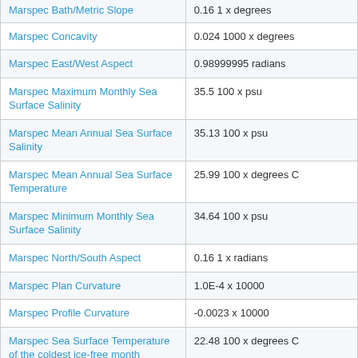| Name | Value |
| --- | --- |
| Marspec Bath/Metric Slope | 0.16 1 x degrees |
| Marspec Concavity | 0.024 1000 x degrees |
| Marspec East/West Aspect | 0.98999995 radians |
| Marspec Maximum Monthly Sea Surface Salinity | 35.5 100 x psu |
| Marspec Mean Annual Sea Surface Salinity | 35.13 100 x psu |
| Marspec Mean Annual Sea Surface Temperature | 25.99 100 x degrees C |
| Marspec Minimum Monthly Sea Surface Salinity | 34.64 100 x psu |
| Marspec North/South Aspect | 0.16 1 x radians |
| Marspec Plan Curvature | 1.0E-4 x 10000 |
| Marspec Profile Curvature | -0.0023 x 10000 |
| Marspec Sea Surface Temperature of the coldest ice-free month | 22.48 100 x degrees C |
| Marspec Sea Surface Temperature of | 28.98 100 x degrees C |